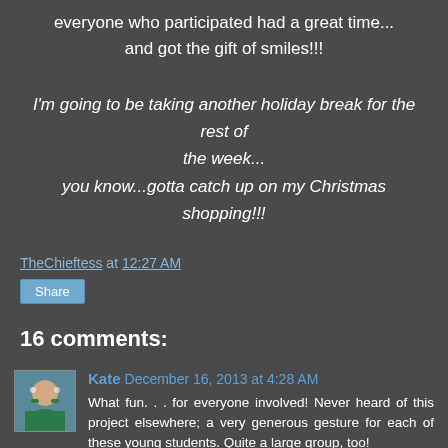everyone who participated had a great time... and got the gift of smiles!!!
I'm going to be taking another holiday break for the rest of the week... you know...gotta catch up on my Christmas shopping!!!
TheChieftess at 12:27 AM
Share
16 comments:
Kate December 16, 2013 at 4:28 AM
What fun. . . for everyone involved! Never heard of this project elsewhere; a very generous gesture for each of these young students. Quite a large group, too!